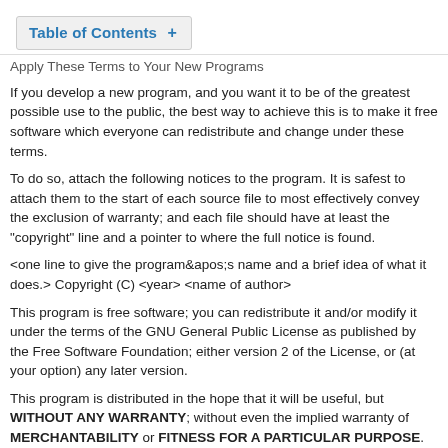Table of Contents +
Apply These Terms to Your New Programs
If you develop a new program, and you want it to be of the greatest possible use to the public, the best way to achieve this is to make it free software which everyone can redistribute and change under these terms.
To do so, attach the following notices to the program. It is safest to attach them to the start of each source file to most effectively convey the exclusion of warranty; and each file should have at least the "copyright" line and a pointer to where the full notice is found.
<one line to give the program&apos;s name and a brief idea of what it does.> Copyright (C) <year> <name of author>
This program is free software; you can redistribute it and/or modify it under the terms of the GNU General Public License as published by the Free Software Foundation; either version 2 of the License, or (at your option) any later version.
This program is distributed in the hope that it will be useful, but WITHOUT ANY WARRANTY; without even the implied warranty of MERCHANTABILITY or FITNESS FOR A PARTICULAR PURPOSE. See the GNU General Public License for more details.
You should have received a copy of the GNU General Public License along with this program; if not, write to the Free Software Foundation,